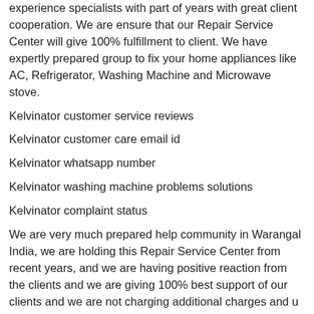experience specialists with part of years with great client cooperation. We are ensure that our Repair Service Center will give 100% fulfillment to client. We have expertly prepared group to fix your home appliances like AC, Refrigerator, Washing Machine and Microwave stove.
Kelvinator customer service reviews
Kelvinator customer care email id
Kelvinator whatsapp number
Kelvinator washing machine problems solutions
Kelvinator complaint status
We are very much prepared help community in Warangal India, we are holding this Repair Service Center from recent years, and we are having positive reaction from the clients and we are giving 100% best support of our clients and we are not charging additional charges and u can believe our Repair Service Center place. When we got the consistent to our selling office they will dispense the professional and afterward expert